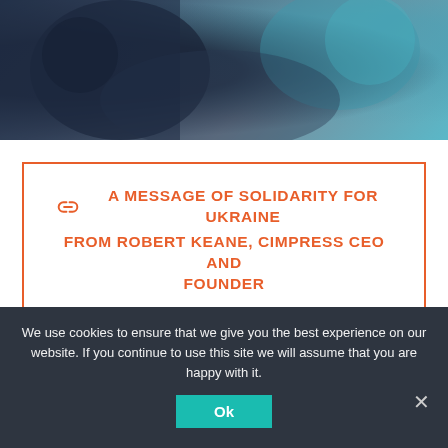[Figure (photo): Blurred photo showing people, dark blue clothing and teal/cyan background colors visible at the top of the page]
A MESSAGE OF SOLIDARITY FOR UKRAINE FROM ROBERT KEANE, CIMPRESS CEO AND FOUNDER
OUR FOCUS
Mass customization: delivering uniquely personalized
We use cookies to ensure that we give you the best experience on our website. If you continue to use this site we will assume that you are happy with it.